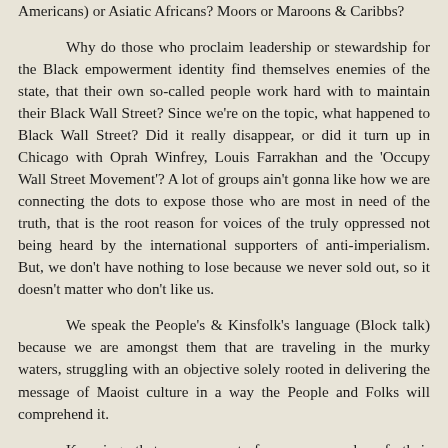Americans) or Asiatic Africans? Moors or Maroons & Caribbs?
Why do those who proclaim leadership or stewardship for the Black empowerment identity find themselves enemies of the state, that their own so-called people work hard with to maintain their Black Wall Street? Since we're on the topic, what happened to Black Wall Street? Did it really disappear, or did it turn up in Chicago with Oprah Winfrey, Louis Farrakhan and the 'Occupy Wall Street Movement'? A lot of groups ain't gonna like how we are connecting the dots to expose those who are most in need of the truth, that is the root reason for voices of the truly oppressed not being heard by the international supporters of anti-imperialism. But, we don't have nothing to lose because we never sold out, so it doesn't matter who don't like us.
We speak the People's & Kinsfolk's language (Block talk) because we are amongst them that are traveling in the murky waters, struggling with an objective solely rooted in delivering the message of Maoist culture in a way the People and Folks will comprehend it.
Knowing that we cannot free our people of their psychological enslavement without first addressing the national identity of WE as a socialist people. USW works from a bottom up vantage. We build from the inside out. Concentrating on the communities around us to develop independent systems of education, communication, economics and